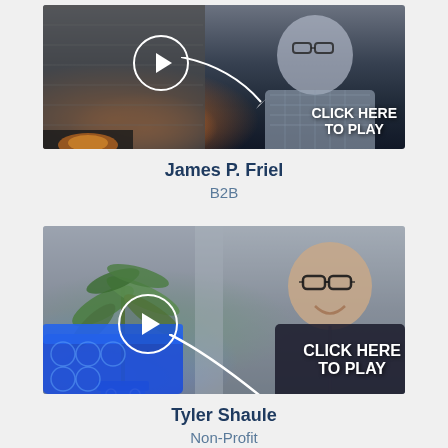[Figure (screenshot): Video thumbnail showing James P. Friel, man with glasses and beard in plaid shirt, with play button circle and 'CLICK HERE TO PLAY' label with arrow]
James P. Friel
B2B
[Figure (screenshot): Video thumbnail showing Tyler Shaule, man with glasses smiling, with plant in background, blue sofa, play button circle and 'CLICK HERE TO PLAY' label with arrow]
Tyler Shaule
Non-Profit